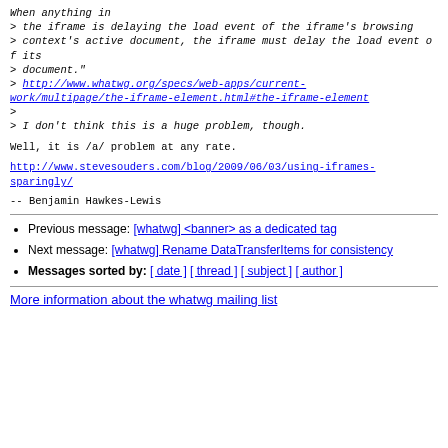When anything in
> the iframe is delaying the load event of the iframe's browsing
> context's active document, the iframe must delay the load event of its
> document."
> http://www.whatwg.org/specs/web-apps/current-work/multipage/the-iframe-element.html#the-iframe-element
>
> I don't think this is a huge problem, though.
Well, it is /a/ problem at any rate.
http://www.stevesouders.com/blog/2009/06/03/using-iframes-sparingly/
--
Benjamin Hawkes-Lewis
Previous message: [whatwg] <banner> as a dedicated tag
Next message: [whatwg] Rename DataTransferItems for consistency
Messages sorted by: [ date ] [ thread ] [ subject ] [ author ]
More information about the whatwg mailing list